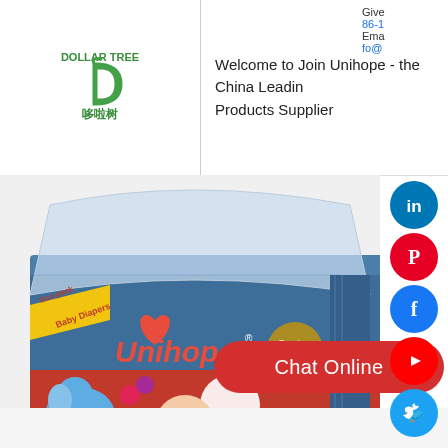[Figure (logo): Dollar Tree logo with green D symbol and Chinese characters 哆啦树]
Welcome to Join Unihope - the China Leading Products Supplier
Give 86-1 Email fo@
[Figure (photo): Unihope baby diapers product package box, blue and red color with elephant mascot and baby photo]
Chat Online